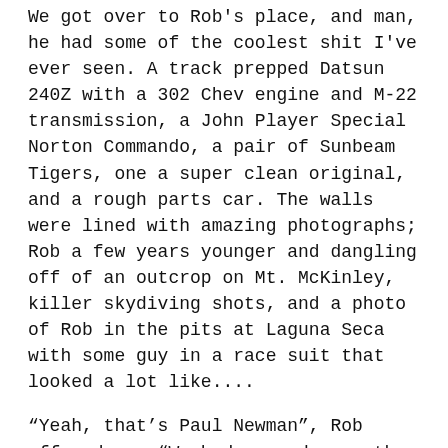We got over to Rob's place, and man, he had some of the coolest shit I've ever seen. A track prepped Datsun 240Z with a 302 Chev engine and M-22 transmission, a John Player Special Norton Commando, a pair of Sunbeam Tigers, one a super clean original, and a rough parts car. The walls were lined with amazing photographs; Rob a few years younger and dangling off of an outcrop on Mt. McKinley, killer skydiving shots, and a photo of Rob in the pits at Laguna Seca with some guy in a race suit that looked a lot like....
“Yeah, that’s Paul Newman”, Rob offered up. “We had camped near the track, and security back then was pretty lax. I walked over to the track and into the pits really early in the morning. A couple of guys came over to me and asked if I could give them a hand pulling out some bent sheetmetal. We got it pulled and tweaked to the point that it looked half decent and the tire wouldn’t rub on it, and they thanked me